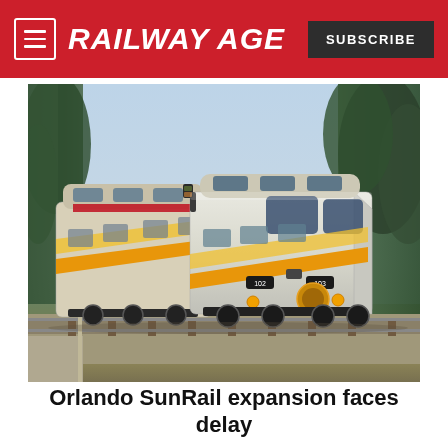RAILWAY AGE
[Figure (photo): A SunRail commuter train with white, yellow, and orange livery traveling on tracks through a wooded area in Orlando, Florida.]
Orlando SunRail expansion faces delay